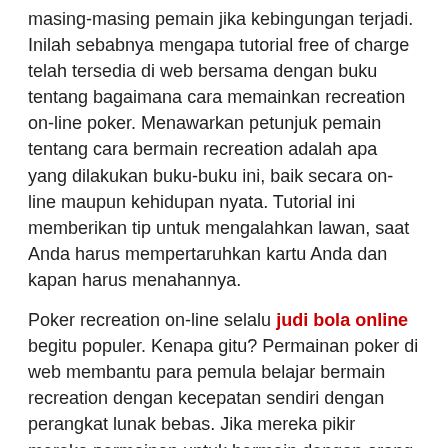masing-masing pemain jika kebingungan terjadi. Inilah sebabnya mengapa tutorial free of charge telah tersedia di web bersama dengan buku tentang bagaimana cara memainkan recreation on-line poker. Menawarkan petunjuk pemain tentang cara bermain recreation adalah apa yang dilakukan buku-buku ini, baik secara on-line maupun kehidupan nyata. Tutorial ini memberikan tip untuk mengalahkan lawan, saat Anda harus mempertaruhkan kartu Anda dan kapan harus menahannya.
Poker recreation on-line selalu judi bola online begitu populer. Kenapa gitu? Permainan poker di web membantu para pemula belajar bermain recreation dengan kecepatan sendiri dengan perangkat lunak bebas. Jika mereka pikir mereka permainan untuk bermain dengan orang lain, situs poker on-line adalah hal yang mereka inginkan. Permainan poker on-line memungkinkan para pemula untuk berjudi sesedikit 1 ¢ dengan gulungan poker free of charge untuk siapa saja yang masuk ke meja tanpa biaya. Atraksi di ruang permainan on-line adalah bahwa pemain tidak perlu merasakan semua tekanan dari sisa pemain untuk tampil tanpa melakukan kesalahan.
Bermain poker recreation on-line akan mengasah kemampuan probabilitas Anda, meningkatkan kemampuan komputasi, menyebarkan reaksi sosial dan mengajarkannya cara bermain dengan baik. Jenis pemain yang dipecat oleh kasino (pemula), poker yang dipeluk secara on-line. Itulah alasan utama poker on-line menjadi salah satu kolektor pendapatan terbesar dari kasino on-line.